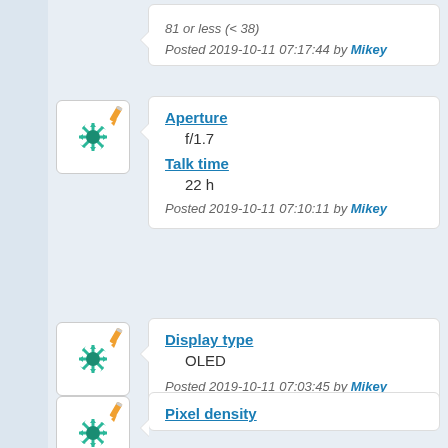81 or less (< 38)
Posted 2019-10-11 07:17:44 by Mikey
[Figure (illustration): User avatar icon: green snowflake/star shape with pencil overlay on white rounded square background]
Aperture
f/1.7
Talk time
22 h
Posted 2019-10-11 07:10:11 by Mikey
[Figure (illustration): User avatar icon: green snowflake/star shape with pencil overlay on white rounded square background]
Display type
OLED
Posted 2019-10-11 07:03:45 by Mikey
[Figure (illustration): User avatar icon: green snowflake/star shape with pencil overlay on white rounded square background]
Pixel density